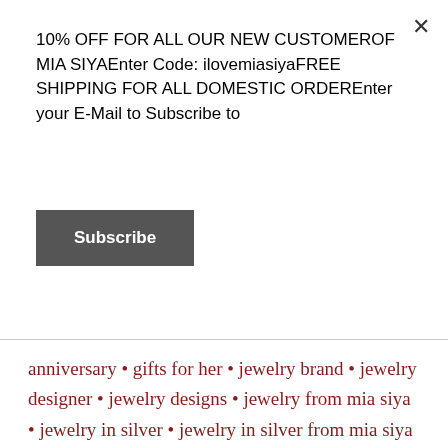10% OFF FOR ALL OUR NEW CUSTOMEROF MIA SIYAEnter Code: ilovemiasiyaFREE SHIPPING FOR ALL DOMESTIC ORDEREnter your E-Mail to Subscribe to
Subscribe
anniversary • gifts for her • jewelry brand • jewelry designer • jewelry designs • jewelry from mia siya • jewelry in silver • jewelry in silver from mia siya • jewelry trends 2019 • luxe boho jewelry brand • making of mia siya • meaning behind the name • mia siya 2018 • mia siya blogs • mia siya brand • mia siya silver jewelry • miasiyabrand 2020 • silver • silver collection • silver collection 2020 • silver jewelry from mia siya • silver jewelry with gemstones • silver trend • silver trends